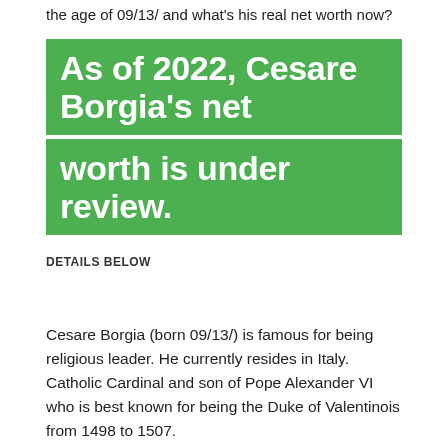the age of 09/13/ and what's his real net worth now?
As of 2022, Cesare Borgia's net worth is under review.
DETAILS BELOW
Cesare Borgia (born 09/13/) is famous for being religious leader. He currently resides in Italy. Catholic Cardinal and son of Pope Alexander VI who is best known for being the Duke of Valentinois from 1498 to 1507.
| Source of Money | Religious Leader |
| --- | --- |